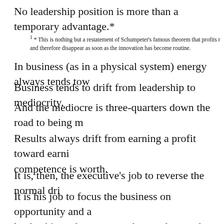No leadership position is more than a temporary advantage.*
1 * This is nothing but a restatement of Schumpeter's famous theorem that profits result from innovation and therefore disappear as soon as the innovation has become routine.
In business (as in a physical system) energy always tends tow
Business tends to drift from leadership to mediocrity.
And the mediocre is three-quarters down the road to being m
Results always drift from earning a profit toward earning what competence is worth.
It is, then, the executive's job to reverse the normal dri
It is his job to focus the business on opportunity and av leadership and counteract the trend toward mediocrity, momentum by new energy and new direction.